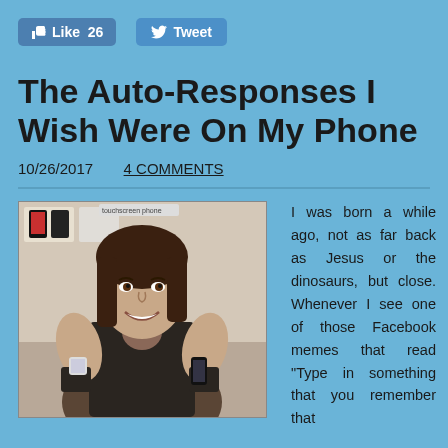[Figure (other): Facebook Like button showing thumbs up icon and 'Like 26']
[Figure (other): Twitter Tweet button showing bird icon and 'Tweet']
The Auto-Responses I Wish Were On My Phone
10/26/2017   4 COMMENTS
[Figure (photo): Woman in phone store holding smartphones, wearing fingerless gloves and dark vest top]
I was born a while ago, not as far back as Jesus or the dinosaurs, but close. Whenever I see one of those Facebook memes that read "Type in something that you remember that